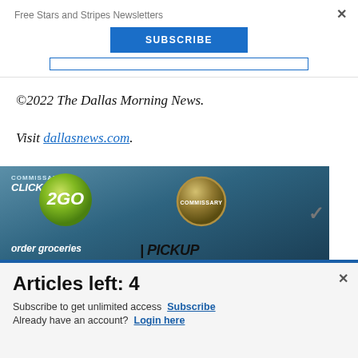Free Stars and Stripes Newsletters
SUBSCRIBE
©2022 The Dallas Morning News.
Visit dallasnews.com.
[Figure (photo): Commissary Click2Go advertisement banner with green circle logo, commissary badge, and text reading 'order groceries | PICKUP']
Articles left: 4
Subscribe to get unlimited access  Subscribe
Already have an account?  Login here